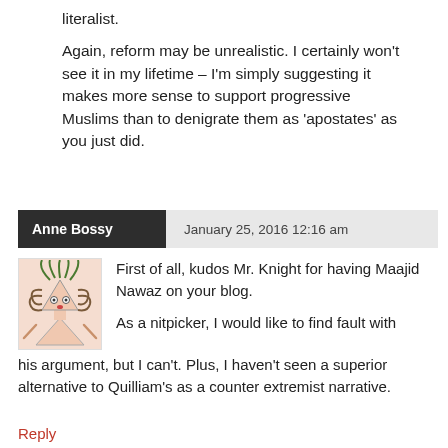literalist.
Again, reform may be unrealistic. I certainly won't see it in my lifetime – I'm simply suggesting it makes more sense to support progressive Muslims than to denigrate them as 'apostates' as you just did.
Anne Bossy    January 25, 2016 12:16 am
[Figure (illustration): Cartoon avatar of a woman with wild hair and a triangular head, arms outstretched.]
First of all, kudos Mr. Knight for having Maajid Nawaz on your blog.

As a nitpicker, I would like to find fault with his argument, but I can't. Plus, I haven't seen a superior alternative to Quilliam's as a counter extremist narrative.
Reply